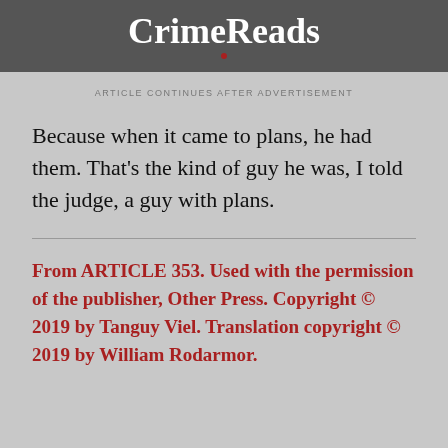CrimeReads
ARTICLE CONTINUES AFTER ADVERTISEMENT
Because when it came to plans, he had them. That’s the kind of guy he was, I told the judge, a guy with plans.
From ARTICLE 353. Used with the permission of the publisher, Other Press. Copyright © 2019 by Tanguy Viel. Translation copyright © 2019 by William Rodarmor.